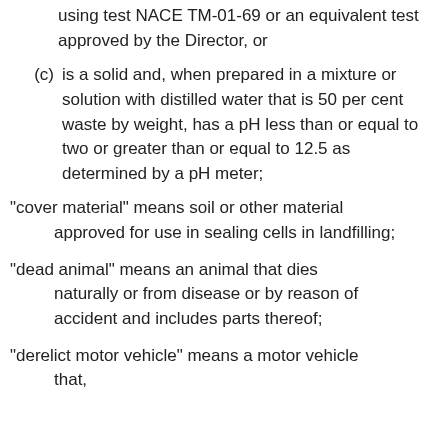using test NACE TM-01-69 or an equivalent test approved by the Director, or
(c) is a solid and, when prepared in a mixture or solution with distilled water that is 50 per cent waste by weight, has a pH less than or equal to two or greater than or equal to 12.5 as determined by a pH meter;
“cover material” means soil or other material approved for use in sealing cells in landfilling;
“dead animal” means an animal that dies naturally or from disease or by reason of accident and includes parts thereof;
“derelict motor vehicle” means a motor vehicle that,